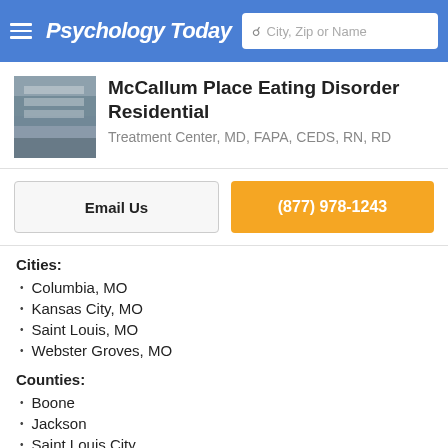Psychology Today — City, Zip or Name search bar
McCallum Place Eating Disorder Residential
Treatment Center, MD, FAPA, CEDS, RN, RD
Email Us
(877) 978-1243
Cities:
Columbia, MO
Kansas City, MO
Saint Louis, MO
Webster Groves, MO
Counties:
Boone
Jackson
Saint Louis City
Saint Louis